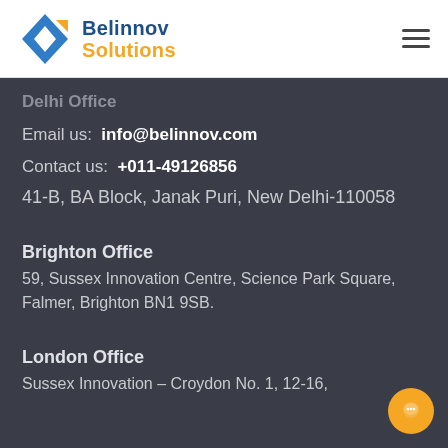[Figure (logo): Belinnov Solutions logo with blue diamond/kite shape and orange accent, followed by brand name 'Belinnov Solutions']
Delhi Office
Email us: info@belinnov.com
Contact us: +011-49126856
41-B, BA Block, Janak Puri, New Delhi-110058
Brighton Office
59, Sussex Innovation Centre, Science Park Square, Falmer, Brighton BN1 9SB.
London Office
Sussex Innovation – Croydon No. 1, 12-16,